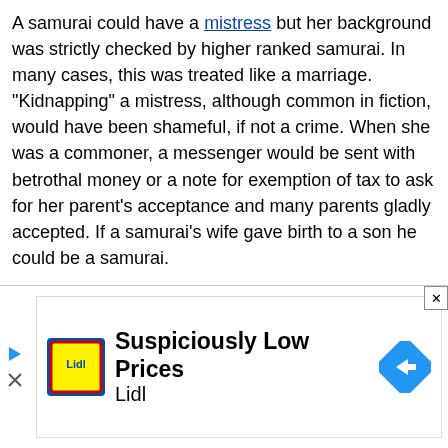A samurai could have a mistress but her background was strictly checked by higher ranked samurai. In many cases, this was treated like a marriage. "Kidnapping" a mistress, although common in fiction, would have been shameful, if not a crime. When she was a commoner, a messenger would be sent with betrothal money or a note for exemption of tax to ask for her parent's acceptance and many parents gladly accepted. If a samurai's wife gave birth to a son he could be a samurai.
A samurai could divorce his wife for a variety of reasons with approval from a superior, but divorce was, while not entirely nonexistent, a rare event. A reason for divorce would be if she could not produce a son, but then adoption could be arranged as an alternative to divorce. A samurai could divorce for personal reasons, even if he simply did not like his wife, but this was generally avoided as it would embarrass the samurai who had arranged the marriage. A woman could also arrange a divorce, although it would generally
[Figure (other): Advertisement banner for Lidl showing 'Suspiciously Low Prices' with Lidl logo and a directional arrow icon]